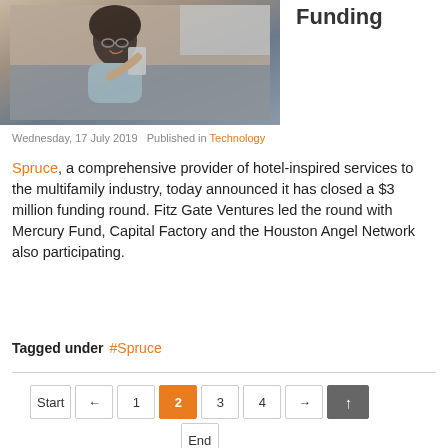[Figure (photo): Woman lying on a couch smiling at her smartphone]
Funding
Wednesday, 17 July 2019   Published in Technology
Spruce, a comprehensive provider of hotel-inspired services to the multifamily industry, today announced it has closed a $3 million funding round. Fitz Gate Ventures led the round with Mercury Fund, Capital Factory and the Houston Angel Network also participating.
Tagged under #Spruce
Start ← 1 2 3 4 → ↑ End